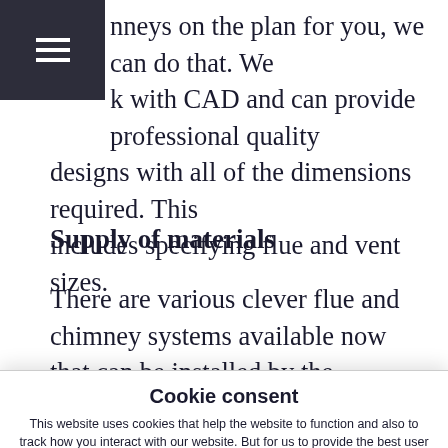nneys on the plan for you, we can do that. We k with CAD and can provide professional quality designs with all of the dimensions required. This includes specifying flue and vent sizes.
Supply of materials
There are various clever flue and chimney systems available now that can be installed by the building contractor as part of the overall build project. We can supply the system and the expert advice and the building contractor...
Cookie consent
This website uses cookies that help the website to function and also to track how you interact with our website. But for us to provide the best user experience, enable the specific cookies from Settings, and click on Accept.